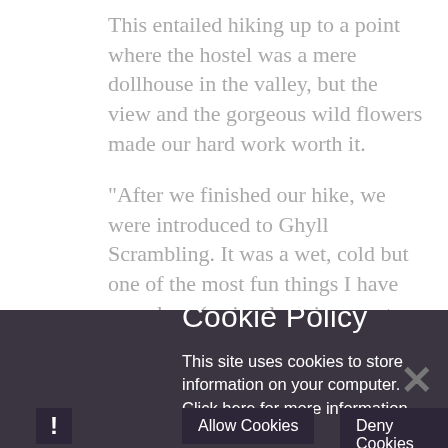This entailed hiking up to a point where the hostel was a mere dollhouse in the valley, but the view and the gorgeous wild flowers made our hard work worth it.
"After we finished our hike, we were introduced to Ghyll Scrambling. It was a wet, cold but one of the most fun things I have ever done (seriously, it is a must-do)! Evening came and we gathered in the hostel to watch a film and get some well-deserved sleep.
Cookie Policy
This site uses cookies to store information on your computer. Click here for more information
Allow Cookies
Deny Cookies